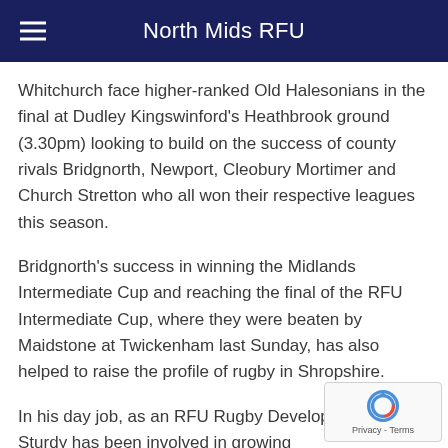North Mids RFU
Whitchurch face higher-ranked Old Halesonians in the final at Dudley Kingswinford's Heathbrook ground (3.30pm) looking to build on the success of county rivals Bridgnorth, Newport, Cleobury Mortimer and Church Stretton who all won their respective leagues this season.
Bridgnorth's success in winning the Midlands Intermediate Cup and reaching the final of the RFU Intermediate Cup, where they were beaten by Maidstone at Twickenham last Sunday, has also helped to raise the profile of rugby in Shropshire.
In his day job, as an RFU Rugby Development Officer, Sturdy has been involved in growing